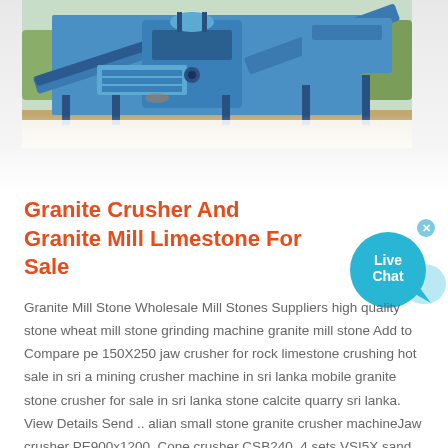[Figure (photo): Industrial granite/stone crushing and screening machinery plant with blue-colored equipment including conveyors, crushers, and screens at an outdoor site.]
Granite Crusher And Granite Mill Limestone For Sale
Granite Mill Stone Wholesale Mill Stones Suppliers high quality stone wheat mill stone grinding machine granite mill stone Add to Compare pe 150X250 jaw crusher for rock limestone crushing hot sale in sri a mining crusher machine in sri lanka mobile granite stone crusher for sale in sri lanka stone calcite quarry sri lanka. View Details Send .. alian small stone granite crusher machineJaw crusher PE900x1200, Cone crusher CSB240, 4 sets VSI5X sand making machine, Vibrating screen 3YZS2160, de-ironing separator.This iron ore stone crushing line. The raw material is crushed by JC840*1100 European type jaw crusher first, then be separated by vibrating screen, the bigger sizes material will be.